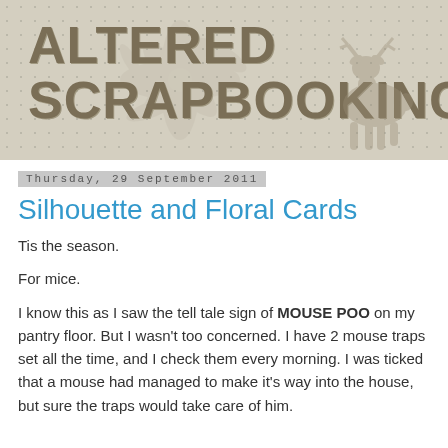[Figure (illustration): Blog header banner with polka dot background, text 'ALTERED SCRAPBOOKING' in large bold brown letters, and a deer silhouette on the right side]
Thursday, 29 September 2011
Silhouette and Floral Cards
Tis the season.
For mice.
I know this as I saw the tell tale sign of MOUSE POO on my pantry floor. But I wasn't too concerned. I have 2 mouse traps set all the time, and I check them every morning. I was ticked that a mouse had managed to make it's way into the house, but sure the traps would take care of him.